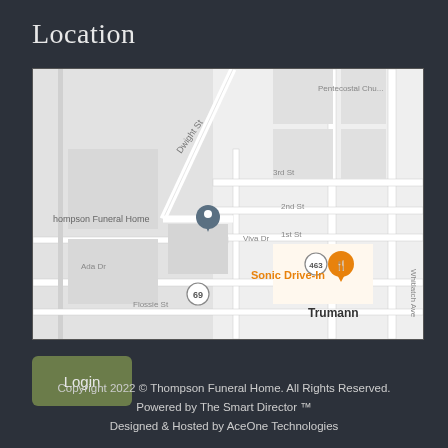Location
[Figure (map): Google Maps view of Thompson Funeral Home in Trumann, AR area, showing nearby streets including Dwight St, Viva Dr, Ada Dr, Flossie St, 1st St, 2nd St, 3rd St, Whitlatch Ave, nearby landmarks Sonic Drive-In and Pentecostal Church, and highway markers 463 and 69.]
Login
Copyright 2022 © Thompson Funeral Home. All Rights Reserved.
Powered by The Smart Director ™
Designed & Hosted by AceOne Technologies